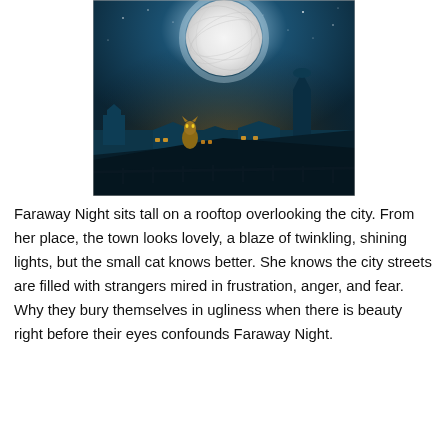[Figure (illustration): A fantastical night scene painting showing a cat sitting tall on a rooftop overlooking a European-style city at night. A large moon made of white yarn illuminates the teal-blue starry sky. The city below glows with warm amber lights from the buildings. Church towers and rooftops are visible in the distance.]
Faraway Night sits tall on a rooftop overlooking the city. From her place, the town looks lovely, a blaze of twinkling, shining lights, but the small cat knows better. She knows the city streets are filled with strangers mired in frustration, anger, and fear. Why they bury themselves in ugliness when there is beauty right before their eyes confounds Faraway Night.